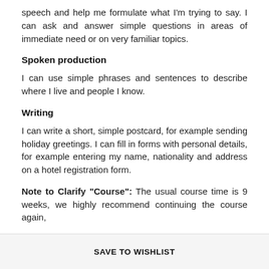speech and help me formulate what I'm trying to say. I can ask and answer simple questions in areas of immediate need or on very familiar topics.
Spoken production
I can use simple phrases and sentences to describe where I live and people I know.
Writing
I can write a short, simple postcard, for example sending holiday greetings. I can fill in forms with personal details, for example entering my name, nationality and address on a hotel registration form.
Note to Clarify "Course": The usual course time is 9 weeks, we highly recommend continuing the course again,
SAVE TO WISHLIST